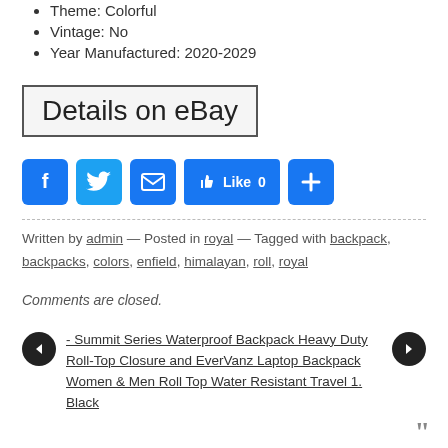Theme: Colorful
Vintage: No
Year Manufactured: 2020-2029
[Figure (screenshot): Details on eBay button with border]
[Figure (screenshot): Social share buttons: Facebook, Twitter, Email, Like 0, Plus]
Written by admin — Posted in royal — Tagged with backpack, backpacks, colors, enfield, himalayan, roll, royal
Comments are closed.
- Summit Series Waterproof Backpack Heavy Duty Roll-Top Closure and EverVanz Laptop Backpack Women & Men Roll Top Water Resistant Travel 1. Black